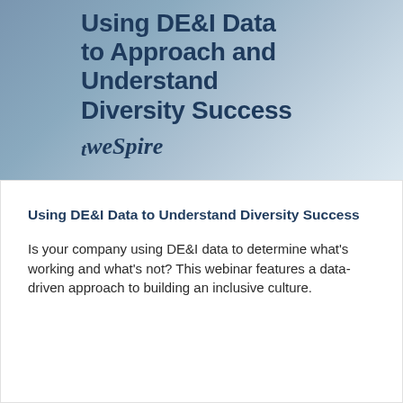[Figure (illustration): Banner image with steel-blue gradient background containing bold dark blue title text 'Using DE&I Data to Approach and Understand Diversity Success' and WeSpire logo in italic serif font below]
Using DE&I Data to Understand Diversity Success
Is your company using DE&I data to determine what's working and what's not? This webinar features a data-driven approach to building an inclusive culture.